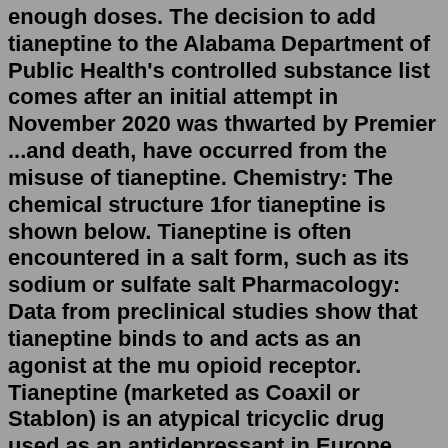enough doses. The decision to add tianeptine to the Alabama Department of Public Health's controlled substance list comes after an initial attempt in November 2020 was thwarted by Premier ...and death, have occurred from the misuse of tianeptine. Chemistry: The chemical structure 1for tianeptine is shown below. Tianeptine is often encountered in a salt form, such as its sodium or sulfate salt Pharmacology: Data from preclinical studies show that tianeptine binds to and acts as an agonist at the mu opioid receptor. Tianeptine (marketed as Coaxil or Stablon) is an atypical tricyclic drug used as an antidepressant in Europe, Asia, and Latin America. In the United States, tianeptine is not approved by the Food and Drug Administration (FDA) for medical use and is an unscheduled pharmaceutical agent* (1).Animal and human studies show that tianeptine is an opioid receptor agonist (2).Clear. $ 49.95. In stock. Add to cart. Rating: Categories: Buy Nootropics, Nootropic Powders, Powders. Buy Tianeptine Sulfate Powder from Nootropic Source. 2 Gram's, 5 Gram's, 10